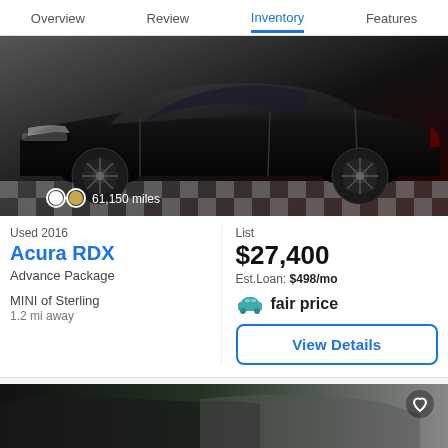Overview  Review  Inventory  Features
[Figure (photo): Black 2016 Acura RDX SUV on a checkered studio floor with overlay showing 61,150 miles]
Used 2016
Acura RDX
Advance Package
MINI of Sterling
1.2 mi away
List
$27,400
Est.Loan: $498/mo
fair price
View Details
[Figure (photo): Partial view of a dark-colored SUV, second listing card]